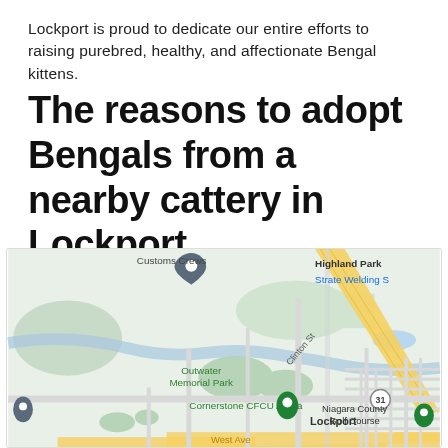Lockport is proud to dedicate our entire efforts to raising purebred, healthy, and affectionate Bengal kittens.
The reasons to adopt Bengals from a nearby cattery in Lockport
[Figure (map): Google Maps screenshot showing Lockport, NY area with landmarks: Customs Crews, Highland Park, Strate Welding S, Outwater Memorial Park, Cornerstone CFCU Arena, Lockport label, Niagara County Golf Course, West Ave, Clinton St, Route 31 marker, and map pins.]